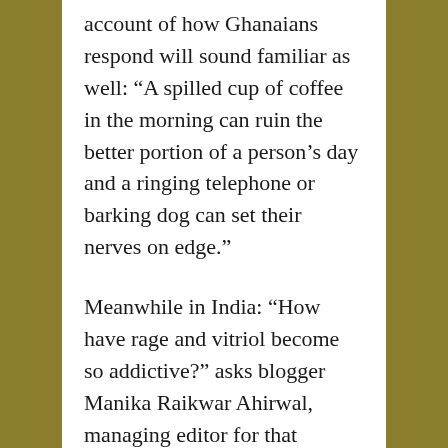account of how Ghanaians respond will sound familiar as well: “A spilled cup of coffee in the morning can ruin the better portion of a person’s day and a ringing telephone or barking dog can set their nerves on edge.”
Meanwhile in India: “How have rage and vitriol become so addictive?” asks blogger Manika Raikwar Ahirwal, managing editor for that country’s NDTV (link HERE). “We need our daily dose of rant. And if it’s angry and full of abuse, even